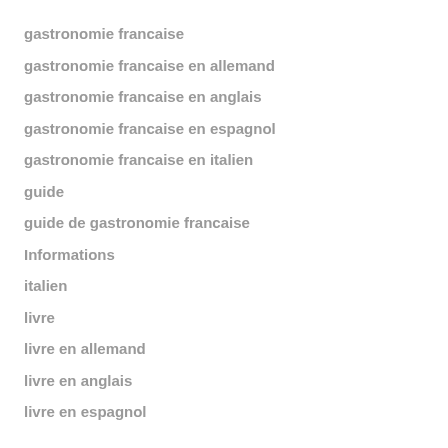gastronomie francaise
gastronomie francaise en allemand
gastronomie francaise en anglais
gastronomie francaise en espagnol
gastronomie francaise en italien
guide
guide de gastronomie francaise
Informations
italien
livre
livre en allemand
livre en anglais
livre en espagnol